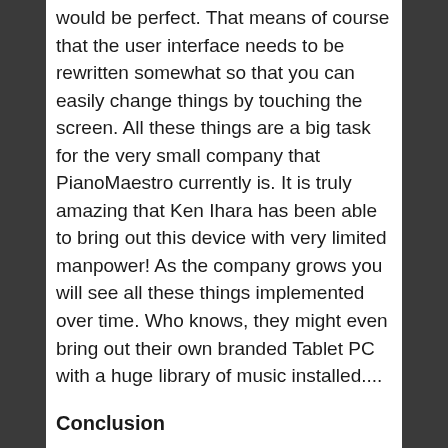would be perfect. That means of course that the user interface needs to be rewritten somewhat so that you can easily change things by touching the screen. All these things are a big task for the very small company that PianoMaestro currently is. It is truly amazing that Ken Ihara has been able to bring out this device with very limited manpower! As the company grows you will see all these things implemented over time. Who knows, they might even bring out their own branded Tablet PC with a huge library of music installed....
Conclusion
For the price of just a few piano lessons (just AUD139) you will have a teaching